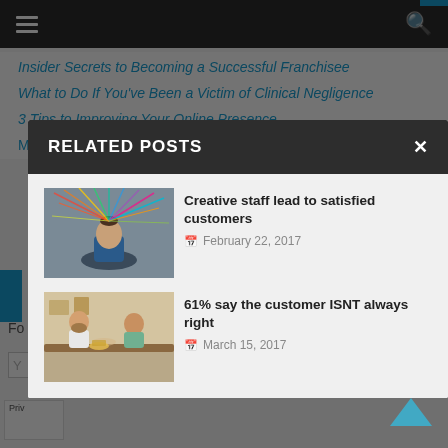Navigation bar with hamburger menu and search icon
Insider Secrets to Becoming a Successful Franchisee
What to Do If You've Been a Victim of Clinical Negligence
3 Tips to Improving Your Online Presence
RELATED POSTS
[Figure (photo): Person with colorful lines radiating from head representing creative thinking]
Creative staff lead to satisfied customers
February 22, 2017
[Figure (photo): Two people in a kitchen or cafe setting having a conversation]
61% say the customer ISNT always right
March 15, 2017